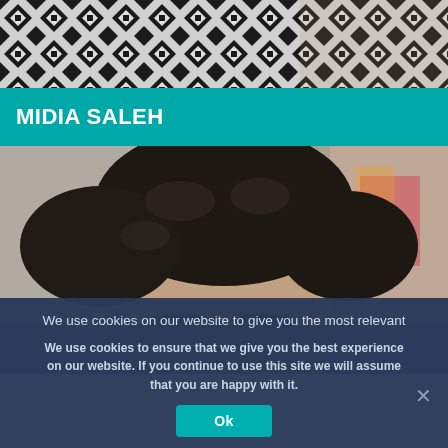[Figure (photo): Top portion of a photo showing a person wearing a black and white geometric patterned garment, cropped to show fabric/clothing area only]
MIDIA SALEH
[Figure (photo): Portrait photo of a person with dark curly hair, showing the upper half of the face (forehead to nose area), with a blurred background]
We use cookies on our website to give you the most relevant
We use cookies to ensure that we give you the best experience on our website. If you continue to use this site we will assume that you are happy with it.
Ok